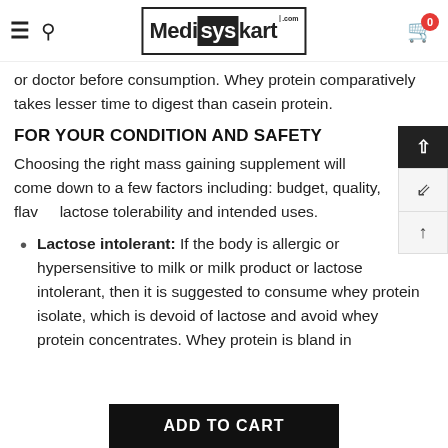Medisyskart.com — navigation bar with hamburger menu, search icon, logo, and cart (0 items)
or doctor before consumption. Whey protein comparatively takes lesser time to digest than casein protein.
FOR YOUR CONDITION AND SAFETY
Choosing the right mass gaining supplement will come down to a few factors including: budget, quality, flavor, lactose tolerability and intended uses.
Lactose intolerant: If the body is allergic or hypersensitive to milk or milk product or lactose intolerant, then it is suggested to consume whey protein isolate, which is devoid of lactose and avoid whey protein concentrates. Whey protein is bland in
ADD TO CART